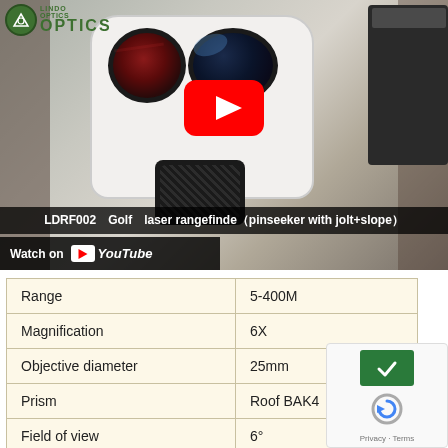[Figure (screenshot): YouTube video thumbnail showing a white golf laser rangefinder device being held in hands. Video title: LDRF002 Golf laser rangefinder (pinseeker with jolt+slope). Lindo Optics logo visible top left. YouTube play button overlay in center. 'Watch on YouTube' bar at bottom.]
| Range | 5-400M |
| Magnification | 6X |
| Objective diameter | 25mm |
| Prism | Roof BAK4 |
| Field of view | 6° |